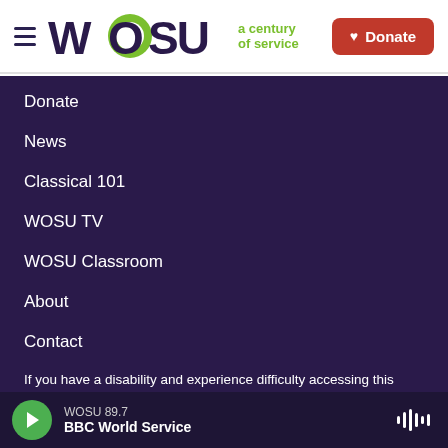WOSU a century of service | Donate
Donate
News
Classical 101
WOSU TV
WOSU Classroom
About
Contact
If you have a disability and experience difficulty accessing this content request an accommodation.
WOSU 89.7 BBC World Service